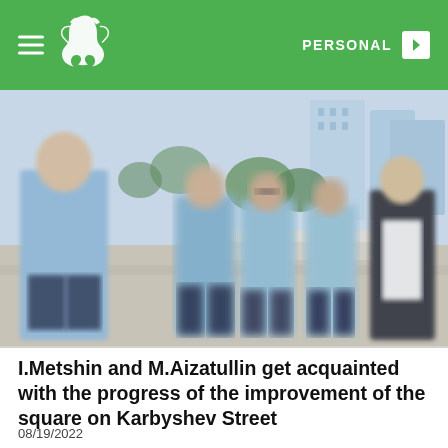PERSONAL
[Figure (photo): Outdoor photo of a group of men in light blue shirts and one man in a dark jacket standing in a plaza or square, with buildings and trees in the background. The image is slightly blurred/bokeh style.]
I.Metshin and M.Aizatullin get acquainted with the progress of the improvement of the square on Karbyshev Street
08/19/2022